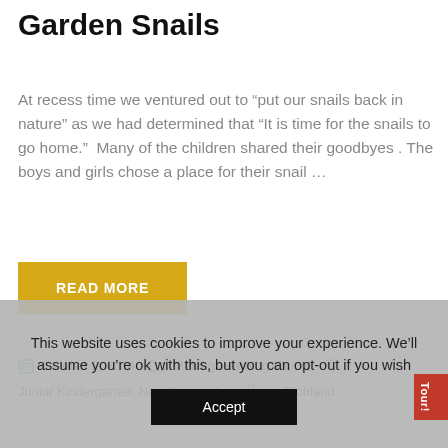Garden Snails
At recess time we ventured out to “put our snails back in nature” as we had determined that “It is time for the snails to go home.”  Many of the children shared their goodbyes . The boys and girls chose a place for their snail …
READ MORE
October 2, 2014   Making Learning Visible   Junior Kindergarten, New Knowledge   by Richland
This website uses cookies to improve your experience. We’ll assume you’re ok with this, but you can opt-out if you wish
Accept